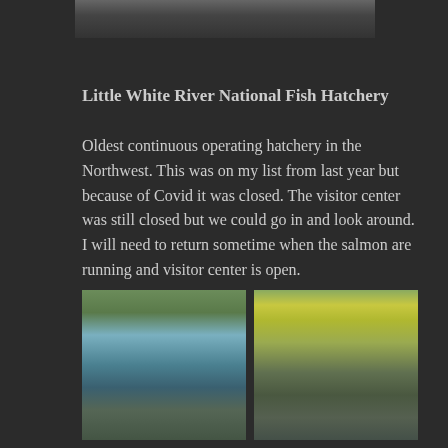[Figure (photo): Partial top of a photo showing outdoor scene, cropped at top of page]
Little White River National Fish Hatchery
Oldest continuous operating hatchery in the Northwest. This was on my list from last year but because of Covid it was closed. The visitor center was still closed but we could go in and look around. I will need to return sometime when the salmon are running and visitor center is open.
[Figure (photo): Left photo: view of a water weir/dam structure at the Little White River National Fish Hatchery with green water and concrete walls]
[Figure (photo): Right photo: aerial view of hatchery raceways and structures surrounded by yellow-green autumn foliage]